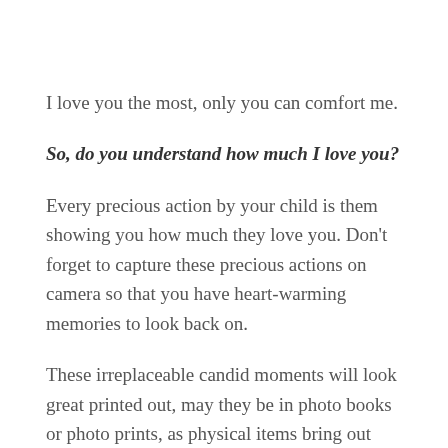I love you the most, only you can comfort me.
So, do you understand how much I love you?
Every precious action by your child is them showing you how much they love you. Don't forget to capture these precious actions on camera so that you have heart-warming memories to look back on.
These irreplaceable candid moments will look great printed out, may they be in photo books or photo prints, as physical items bring out